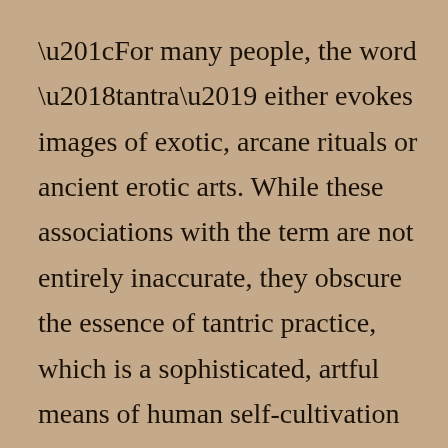“For many people, the word ‘tantra’ either evokes images of exotic, arcane rituals or ancient erotic arts. While these associations with the term are not entirely inaccurate, they obscure the essence of tantric practice, which is a sophisticated, artful means of human self-cultivation and self-transformation.  In the Christian Tantric Meditation Guide, David Miller has beautifully distilled several essential elements of this practice and has applied them, quite fruitfully and imaginatively, within a Christian context. Miller’s patient, gentle approach in this text